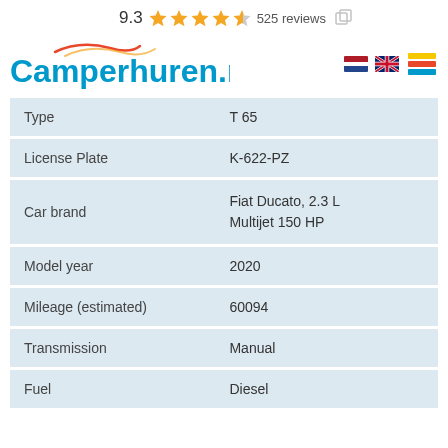9.3 ★★★★½ 525 reviews
[Figure (logo): Camperhuren.nl logo with wave accent in orange/red above the letters, with Dutch and UK flag icons and a hamburger menu with yellow, red and blue horizontal bars]
| Field | Value |
| --- | --- |
| Type | T 65 |
| License Plate | K-622-PZ |
| Car brand | Fiat Ducato, 2.3 L Multijet 150 HP |
| Model year | 2020 |
| Mileage (estimated) | 60094 |
| Transmission | Manual |
| Fuel | Diesel |